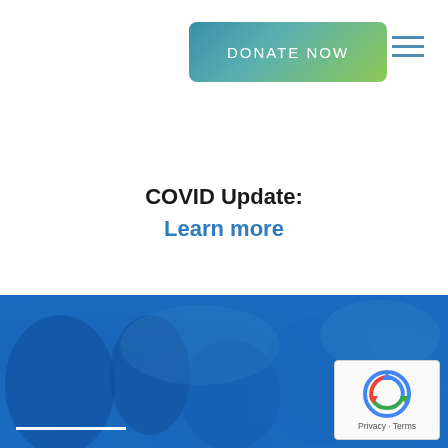[Figure (other): DONATE NOW button with teal-to-green gradient background, white text, rounded rectangle]
[Figure (other): Hamburger menu icon with three horizontal lines]
COVID Update:
Learn more
[Figure (photo): Blue-tinted photo of people outdoors in a winter/snowy scene, heavily overlaid with blue color]
[Figure (logo): reCAPTCHA badge with circular arrow logo, showing Privacy and Terms links]